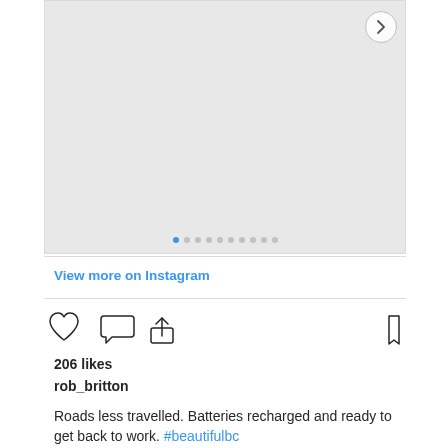[Figure (photo): Instagram post image area (grey placeholder) with carousel navigation arrow and dot indicators]
View more on Instagram
[Figure (infographic): Instagram action icons: like (heart), comment (speech bubble), share (upload arrow), bookmark]
206 likes
rob_britton
Roads less travelled. Batteries recharged and ready to get back to work. #beautifulbc